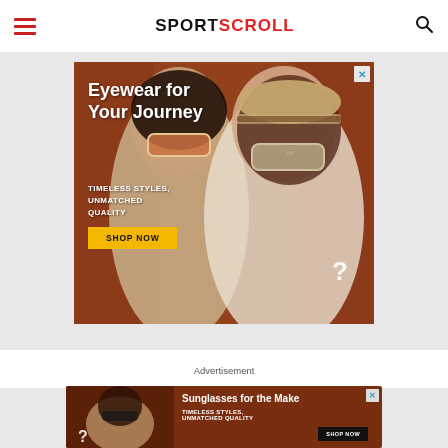SportScroll
[Figure (photo): Advertisement banner for eyewear brand. Two women wearing stylish sunglasses against an orange-brown background. Text reads 'Eyewear for Your Journey', 'TIMELESS STYLES, UNMATCHED QUALITY', with a yellow 'SHOP NOW' button.]
Advertisement
[Figure (photo): Bottom advertisement strip for sunglasses. Two women wearing dark sunglasses. Text reads 'Sunglasses for the Make', 'TIMELESS STYLES, UNMATCHED QUALITY', with a 'SHOP NOW' button.]